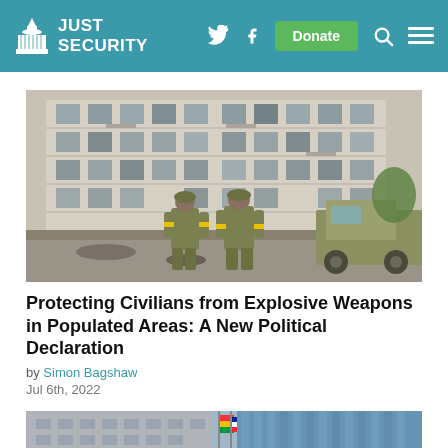JUST SECURITY
[Figure (photo): Two soldiers in camouflage uniforms stand with their backs to the camera, facing a heavily damaged multi-story residential building with blown-out windows and debris. A military truck is visible on the right.]
Protecting Civilians from Explosive Weapons in Populated Areas: A New Political Declaration
by Simon Bagshaw
Jul 6th, 2022
[Figure (photo): Partial view of a tall, modern government or UN building with flags in the foreground against a blue sky, partially cut off at the bottom of the page.]